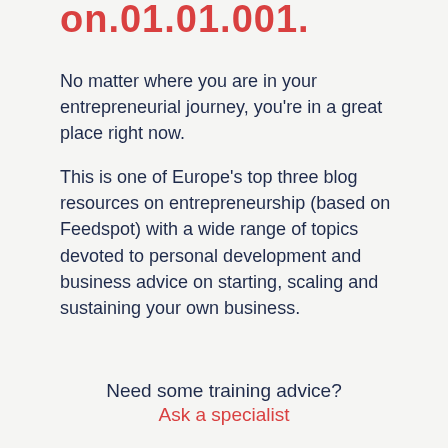on.01.01.001.
No matter where you are in your entrepreneurial journey, you’re in a great place right now.

This is one of Europe’s top three blog resources on entrepreneurship (based on Feedspot) with a wide range of topics devoted to personal development and business advice on starting, scaling and sustaining your own business.
Need some training advice?
Ask a specialist